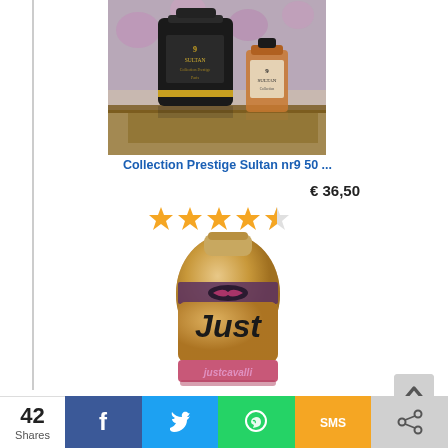[Figure (photo): Photo of Collection Prestige Sultan nr9 perfume bottles - a tall black bottle and a smaller amber bottle]
Collection Prestige Sultan nr9 50 ...
€ 36,50
[Figure (other): 4.5 star rating shown with gold stars]
[Figure (photo): Photo of Just Cavalli perfume bottle - gold/rose bottle with pink base]
[Figure (other): Back to top arrow button]
42 Shares
[Figure (other): Social share bar with Facebook, Twitter, WhatsApp, SMS, and share buttons]